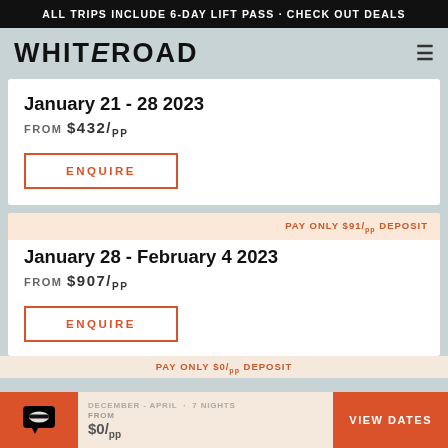ALL TRIPS INCLUDE 6-DAY LIFT PASS · CHECK OUT DEALS
WHITEROAD
January 21 - 28 2023
FROM $432/pp
ENQUIRE
PAY ONLY $91/pp DEPOSIT
January 28 - February 4 2023
FROM $907/pp
ENQUIRE
PAY ONLY $0/pp DEPOSIT
DECEMBER - APRIL · 7 NIGHTS  FROM $0/pp
VIEW DATES